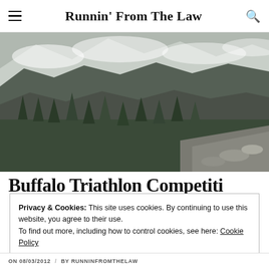Runnin' From The Law
[Figure (photo): Panoramic mountain landscape with conifer trees in foreground, rocky slopes, misty/cloudy peaks with snow in background]
Buffalo Triathlon Competition
Privacy & Cookies: This site uses cookies. By continuing to use this website, you agree to their use.
To find out more, including how to control cookies, see here: Cookie Policy
Close and accept
ON 08/03/2012  /  BY RUNNINFROMTHELAW